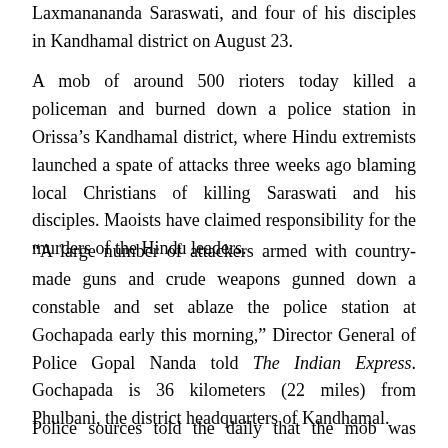Laxmanananda Saraswati, and four of his disciples in Kandhamal district on August 23.
A mob of around 500 rioters today killed a policeman and burned down a police station in Orissa’s Kandhamal district, where Hindu extremists launched a spate of attacks three weeks ago blaming local Christians of killing Saraswati and his disciples. Maoists have claimed responsibility for the murders of the Hindu leaders.
“A large number of attackers armed with country-made guns and crude weapons gunned down a constable and set ablaze the police station at Gochapada early this morning,” Director General of Police Gopal Nanda told The Indian Express. Gochapada is 36 kilometers (22 miles) from Phulbani, the district headquarters of Kandhamal.
Police sources told the daily that the mob was demanding